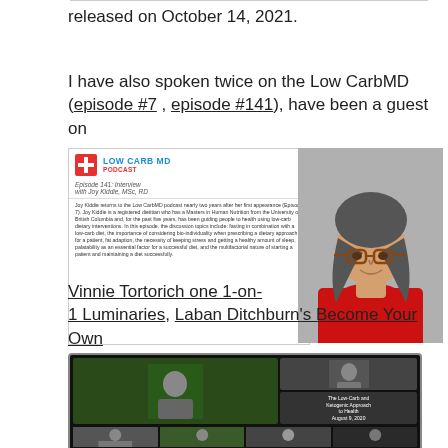released on October 14, 2021.
I have also spoken twice on the Low CarbMD (episode #7 , episode #141), have been a guest on Vinnie Tortorich one 1-on-1 Luminaries, Laban Ditchburn's Become Your Own Superhero, Die Healthier Podcast (episode #41),  Ketovangelist, (episode #153), as well as on Weight Solutions For Physicians.
[Figure (screenshot): Low Carb MD Podcast episode 141 cover with interview with Joy Kiddie MSc, RD and photo of a woman with glasses in a red sweater]
[Figure (screenshot): Video screenshot showing 'The Low-Carb and Ketogenic Approach to Health, August 9, 2020' with grid of video thumbnails on dark background]